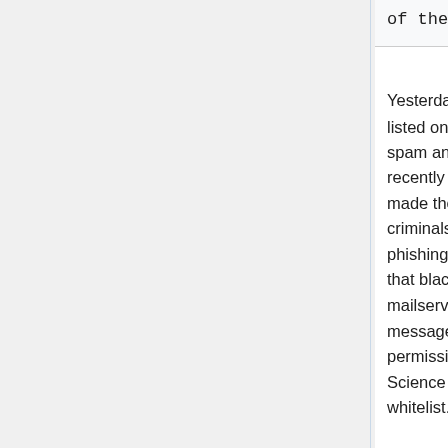of the RU mailserver
Yesterday the RU outgoing mailserver smtpout3.ru.nl got listed on the SORBS blacklist of confirmed senders of spam and phishing mails. The reason probably is that recently many students fell for phishing mails, which made their username and password known to Internet criminals. These criminals use that to send spam and phishing mails. Because also the Science mailservers use that blacklist, we did not accept mail from the RU mailserver anymore. The senders received an error message: "Your message wasn't delivered due to a permission or security issue." We solved this for our Science users by putting the RU mailserver on our own whitelist.